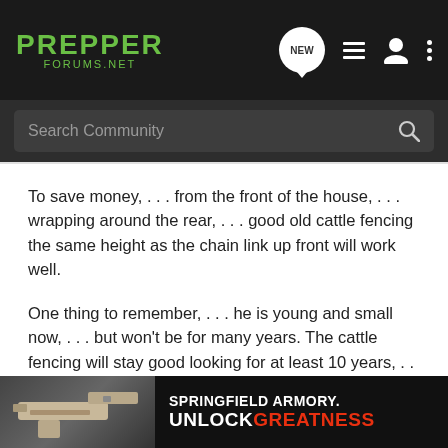PREPPER FORUMS.NET
To save money, . . . from the front of the house, . . . wrapping around the rear, . . . good old cattle fencing the same height as the chain link up front will work well.
One thing to remember, . . . he is young and small now, . . . but won't be for many years. The cattle fencing will stay good looking for at least 10 years, . . . which will give you time to make other decisions as to what you want to do, . . . while giving you safety and peace of mind now.
We used a 3 board wooden fence, . . . relying on teaching our son that the fence was his boundary, . . . it worked for him.
May Go
[Figure (screenshot): Springfield Armory advertisement banner with pistol image and 'UNLOCK GREATNESS' tagline]